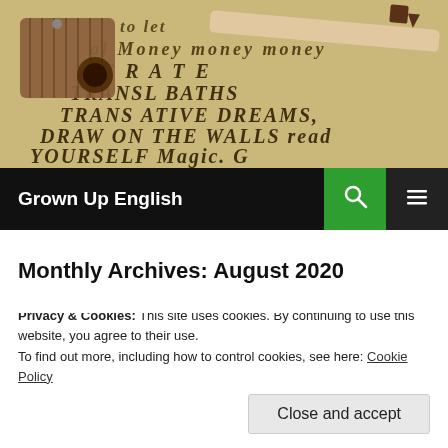[Figure (photo): Header image showing a wooden pencil sharpener, a pencil, and handwritten text on paper including words like 'TRANSLATE', 'DRAW ON THE WALLS', 'DREAMS', 'CREATIVE', 'YOURSELF Magic']
Grown Up English
Monthly Archives: August 2020
[Figure (photo): Partial image of snowy mountain or icy landscape with a blue watercolor brush stroke across the top]
Privacy & Cookies: This site uses cookies. By continuing to use this website, you agree to their use.
To find out more, including how to control cookies, see here: Cookie Policy
Close and accept